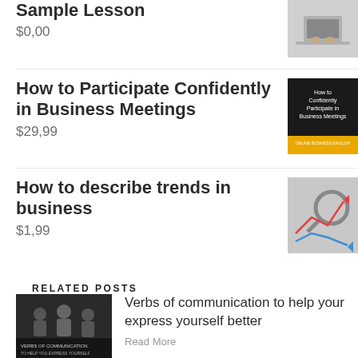Sample Lesson
$0,00
How to Participate Confidently in Business Meetings
$29,99
How to describe trends in business
$1,99
RELATED POSTS
Verbs of communication to help your express yourself better
Read More